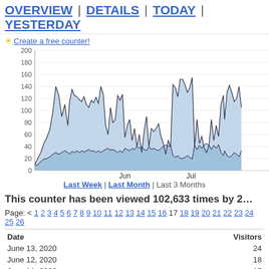OVERVIEW | DETAILS | TODAY | YESTERDAY
✳ Create a free counter!
[Figure (area-chart): Area chart showing daily visitor counts over approximately 3 months (May-July 2020). Two area series: total visitors (light blue fill, spiky peaks up to ~185) and unique visitors (darker lower area, mostly below 40). X-axis labels: Jun, Jul. Y-axis: 0 to 200 in steps of 20.]
Last Week | Last Month | Last 3 Months
This counter has been viewed 102,633 times by 2…
Page: < 1 2 3 4 5 6 7 8 9 10 11 12 13 14 15 16 17 18 19 20 21 22 23 24 25 26
| Date | Visitors |
| --- | --- |
| June 13, 2020 | 24 |
| June 12, 2020 | 18 |
| June 11, 2020 | 15 |